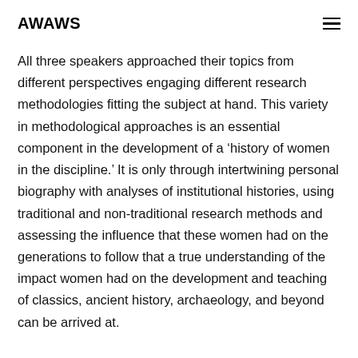AWAWS
All three speakers approached their topics from different perspectives engaging different research methodologies fitting the subject at hand. This variety in methodological approaches is an essential component in the development of a ‘history of women in the discipline.’ It is only through intertwining personal biography with analyses of institutional histories, using traditional and non-traditional research methods and assessing the influence that these women had on the generations to follow that a true understanding of the impact women had on the development and teaching of classics, ancient history, archaeology, and beyond can be arrived at.